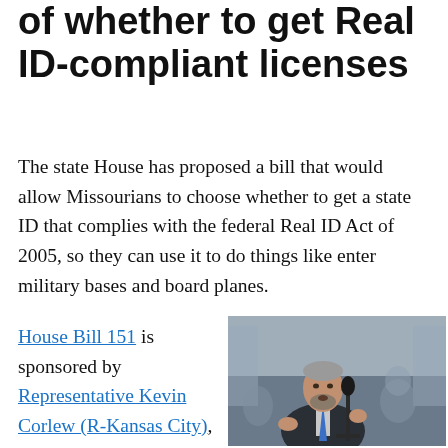of whether to get Real ID-compliant licenses
The state House has proposed a bill that would allow Missourians to choose whether to get a state ID that complies with the federal Real ID Act of 2005, so they can use it to do things like enter military bases and board planes.
House Bill 151 is sponsored by Representative Kevin Corlew (R-Kansas City), who called it a
[Figure (photo): Photo of Representative Kevin Corlew speaking at a microphone in a legislative chamber, wearing a dark suit and blue tie.]